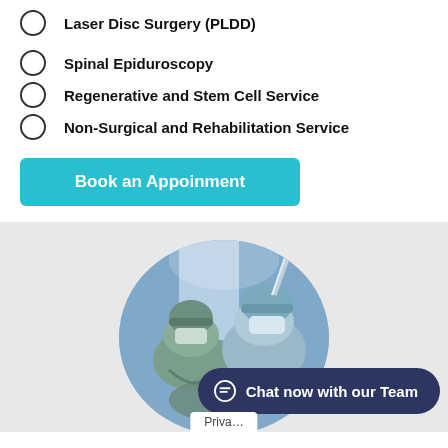Laser Disc Surgery (PLDD)
Spinal Epiduroscopy
Regenerative and Stem Cell Service
Non-Surgical and Rehabilitation Service
Book an Appoinment
[Figure (photo): Circular cropped photo of surgeons in surgical masks and caps performing a procedure in an operating room with blue lighting in background]
Chat now with our Team
Privacy